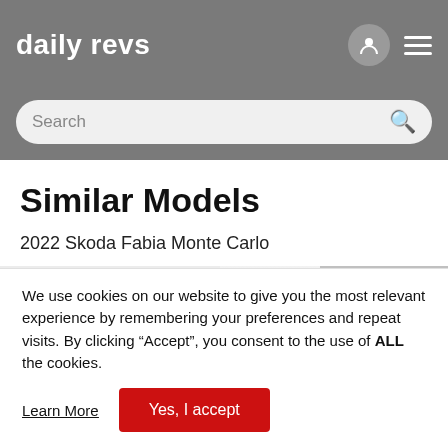daily revs
Similar Models
2022 Skoda Fabia Monte Carlo
[Figure (photo): Partial rear view of a car (2022 Skoda Fabia Monte Carlo) showing roof and spoiler against a light background]
We use cookies on our website to give you the most relevant experience by remembering your preferences and repeat visits. By clicking “Accept”, you consent to the use of ALL the cookies.